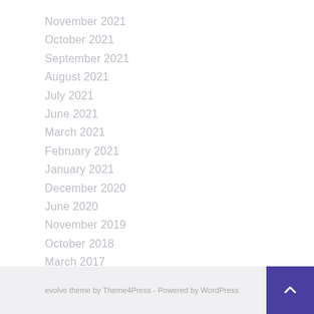November 2021
October 2021
September 2021
August 2021
July 2021
June 2021
March 2021
February 2021
January 2021
December 2020
June 2020
November 2019
October 2018
March 2017
evolve theme by Theme4Press - Powered by WordPress